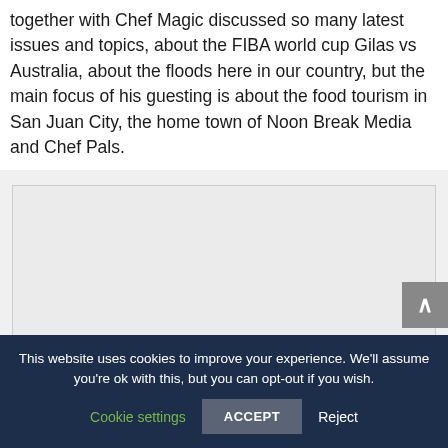together with Chef Magic discussed so many latest issues and topics, about the FIBA world cup Gilas vs Australia, about the floods here in our country, but the main focus of his guesting is about the food tourism in San Juan City, the home town of Noon Break Media and Chef Pals.
[Figure (other): Light gray image placeholder rectangle]
This website uses cookies to improve your experience. We'll assume you're ok with this, but you can opt-out if you wish. Cookie settings ACCEPT Reject